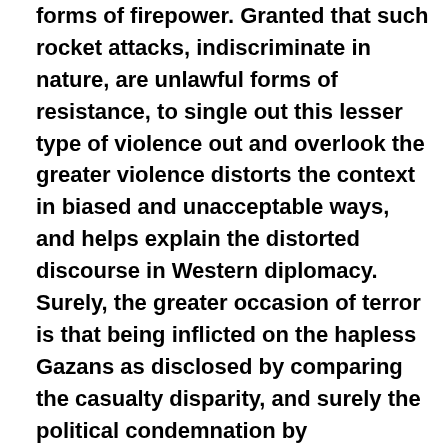forms of firepower. Granted that such rocket attacks, indiscriminate in nature, are unlawful forms of resistance, to single out this lesser type of violence out and overlook the greater violence distorts the context in biased and unacceptable ways, and helps explain the distorted discourse in Western diplomacy. Surely, the greater occasion of terror is that being inflicted on the hapless Gazans as disclosed by comparing the casualty disparity, and surely the political condemnation by responsible governments and even more so by the UN should be directed at the aggressor, who also happens to be the only political actor with the means to end the escalating violence, yet defiantly lacks the will. This international reaction to this latest crisis confirms for all with eyes to see that geopolitical alignments, not law or justice,